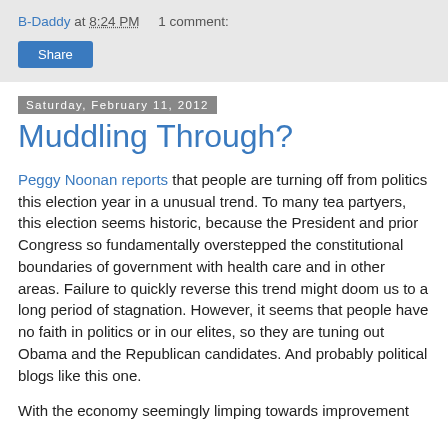B-Daddy at 8:24 PM    1 comment:
Share
Saturday, February 11, 2012
Muddling Through?
Peggy Noonan reports that people are turning off from politics this election year in a unusual trend. To many tea partyers, this election seems historic, because the President and prior Congress so fundamentally overstepped the constitutional boundaries of government with health care and in other areas. Failure to quickly reverse this trend might doom us to a long period of stagnation. However, it seems that people have no faith in politics or in our elites, so they are tuning out Obama and the Republican candidates. And probably political blogs like this one.
With the economy seemingly limping towards improvement and this theme, we are on the brink of this political...